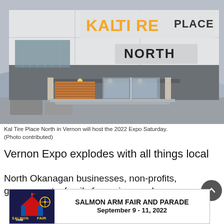[Figure (photo): Exterior photo of Kal Tire Place North building in Vernon, showing the entrance with illuminated lights, glass doors, and large signage reading KAL TIRE PLACE NORTH on white and dark grey cladding.]
Kal Tire Place North in Vernon will host the 2022 Expo Saturday. (Photo contributed)
Vernon Expo explodes with all things local
North Okanagan businesses, non-profits, governments, family fun, prizes and more
[Figure (infographic): Advertisement banner for Salmon Arm Fair and Parade, September 9–11, 2022, featuring event logo on dark blue background on the left and event name and date in bold text on the right.]